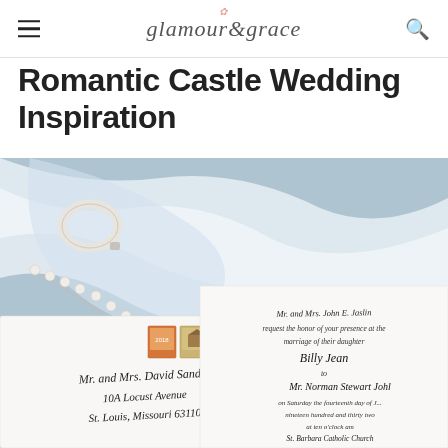glamour & grace
Romantic Castle Wedding Inspiration
[Figure (photo): Wedding flat lay photo showing a light blue tulle veil fabric, pearl jewelry/bracelet, postage stamps, white envelope addressed in calligraphy to 'Mr. and Mrs. David Sander, 10A Locust Avenue, St. Louis, Missouri 63110', and a wedding invitation in elegant script reading 'Mr. and Mrs. John E. Jaslin request the honor of your presence at the marriage of their daughter Billy Jean to Mr. Norman Stewart Johl... on Saturday the fourteenth day of J... nineteen hundred and thirty two at ten o'clock am St. Barbara Catholic Church St. Louis, Missouri']